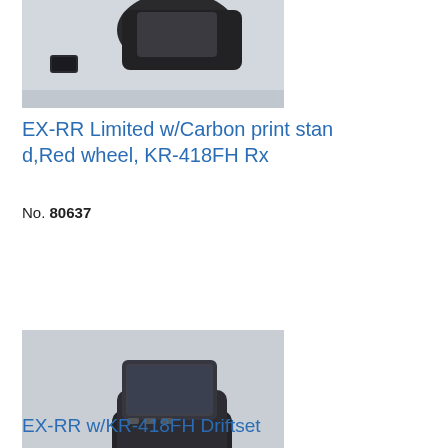[Figure (photo): Partial photo of RC transmitter product (EX-RR Limited with Carbon print stand, Red wheel, KR-418FH Rx), cropped at top of page]
EX-RR Limited w/Carbon print stand,Red wheel, KR-418FH Rx
No. 80637
[Figure (photo): Photo of RC transmitter (EX-RR with KR-418FH Driftset) — a dark grey pistol-grip style radio controller with screen on top, steering wheel on left, and small receiver/servo accessories laid out in front, on a light grey background]
EX-RR w/KR-418FH Driftset